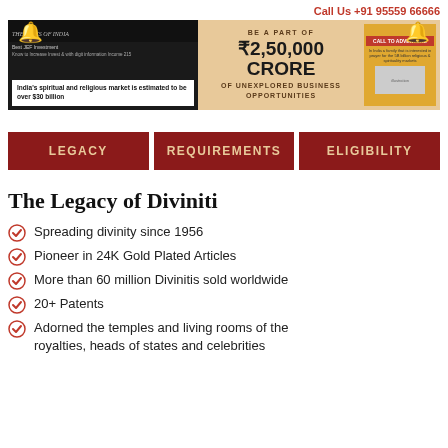Call Us +91 95559 66666
[Figure (infographic): Banner showing Times of India news snippet about India's spiritual and religious market estimated over $30 billion, text 'BE A PART OF ₹2,50,000 CRORE OF UNEXPLORED BUSINESS OPPORTUNITIES', and a book/magazine cover on the right, with decorative bells]
LEGACY | REQUIREMENTS | ELIGIBILITY
The Legacy of Diviniti
Spreading divinity since 1956
Pioneer in 24K Gold Plated Articles
More than 60 million Divinitis sold worldwide
20+ Patents
Adorned the temples and living rooms of the royalties, heads of states and celebrities